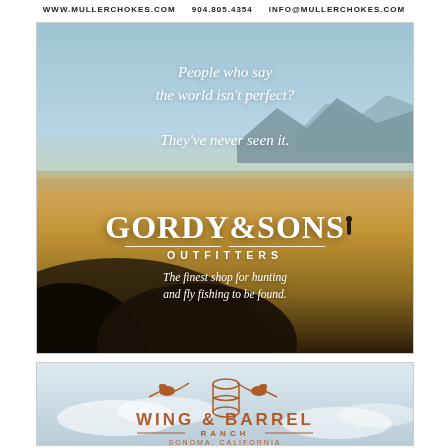WWW.MULLERCHOKES.COM   904.805.4354   INFO@MULLERCHOKES.COM
[Figure (photo): Gordy & Sons Outfitters advertisement. Background photo of wide open golden prairie landscape with mountains in distance under blue sky. White italic serif text reads: 'People who say the world isn't perfect? They've never seen it.' Lower portion shows Gordy & Sons Outfitters brand name in large white serif font with tagline 'The finest shop for hunting and fly fishing to be found.']
[Figure (logo): Wing & Barrel Ranch advertisement with logo featuring two pheasant birds flanking a barrel barrel, brand name 'WING & BARREL' in brown serif caps with 'RANCH' below and 'SONOMA, CALIFORNIA' at bottom, all in orange-brown tones on a light blue-grey sky background.]